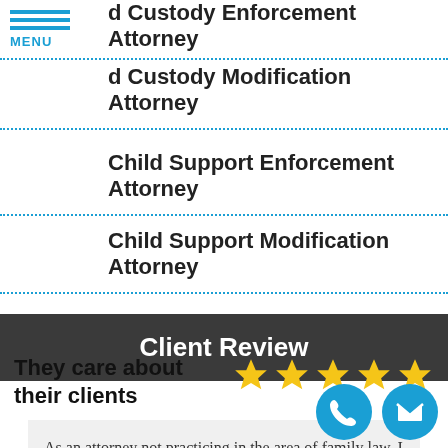MENU
d Custody Enforcement Attorney
d Custody Modification Attorney
Child Support Enforcement Attorney
Child Support Modification Attorney
Client Review
They care about their clients
As an attorney not practicing in the area of family law, I continually refer all family law matters that come my way directly to Voelker & Kairys. Their attorneys are highly pr... read more